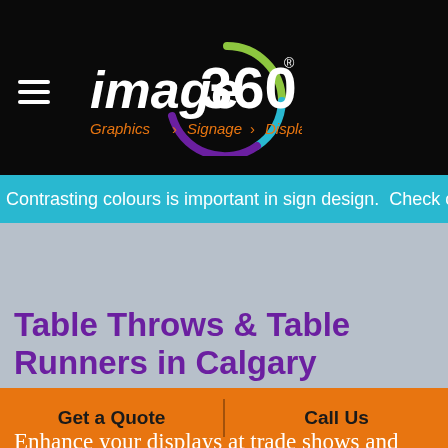image360 Graphics > Signage > Displays
Contrasting colours is important in sign design. Check out th
Table Throws & Table Runners in Calgary
Enhance your displays at trade shows and other events with custom tablecloths, throws, runners, and skirts.
Get a Quote | Call Us